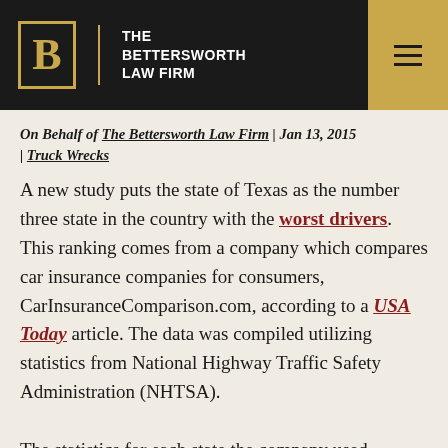The Bettersworth Law Firm
On Behalf of The Bettersworth Law Firm | Jan 13, 2015 | Truck Wrecks
A new study puts the state of Texas as the number three state in the country with the worst drivers. This ranking comes from a company which compares car insurance companies for consumers, CarInsuranceComparison.com, according to a USA Today article. The data was compiled utilizing statistics from National Highway Traffic Safety Administration (NHTSA).

The statistics for each state the company used